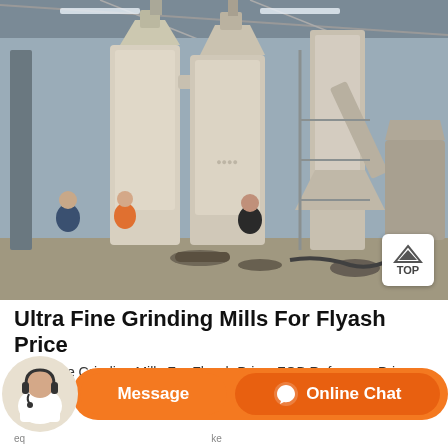[Figure (photo): Industrial grinding mill equipment inside a large warehouse/factory. Large white cylindrical grinding mill towers with connecting pipes and dust collection hoppers are visible. Several workers in the foreground. Additional machinery on the right side.]
Ultra Fine Grinding Mills For Flyash Price
Ultra Fine Grinding Mills For Flyash Price. FOB Reference Price
[Figure (screenshot): Chat bar with Message button and Online Chat button in orange, with a customer service avatar on the left]